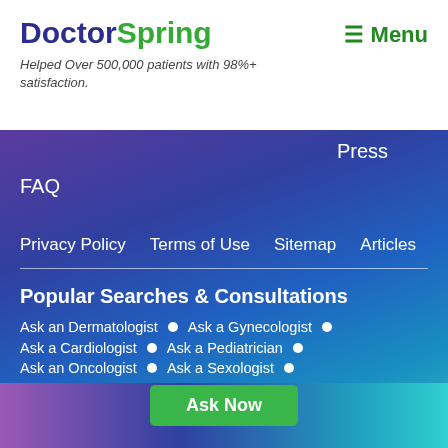DoctorSpring
Helped Over 500,000 patients with 98%+ satisfaction.
≡ Menu
Press
FAQ
Privacy Policy   Terms of Use   Sitemap   Articles
Popular Searches & Consultations
Ask an Dermatologist • Ask a Gynecologist •
Ask a Cardiologist • Ask a Pediatrician •
Ask an Oncologist • Ask a Sexologist •
Ask an Online Psychiatrist • Ask an Orthopedic surgeon •
Ask a STD Specialist • Ask a Urologist •
Ask an Infertility Specialist • Ask an Endocrinologist •
Ask an HIV-AIDS Specialist •
Ask Now